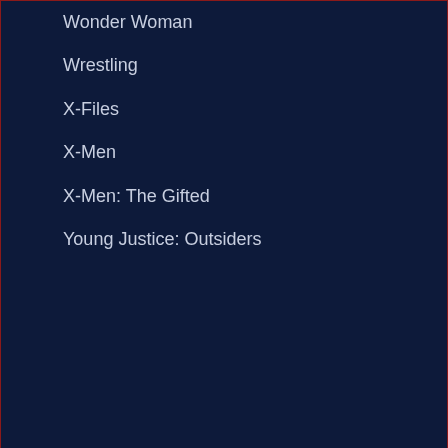Wonder Woman
Wrestling
X-Files
X-Men
X-Men: The Gifted
Young Justice: Outsiders
Latest Posts
FINAL FANTASY VII Fighting Dress 'Tifa' PAK and Static Arts!
CYBERPUNK: EDGERUNNERS NSFW Trailer Drops!
G.I.Joe Classified ‘Crimson Twins’ and ‘Stalker’ Unboxing and Review with Action Media Reviews!
STARGIRL SN. #3 EP. 1 ‘The Murder’ TONIGHT!
HALF THE BATTLE - My Top 8 G.I.Joe and Cobra Playsets!
Ninja Turtles ‘Shredder’ BDS Art Scale 1/10 Scale Statue from Iron